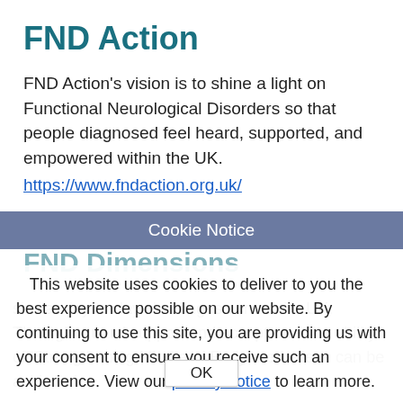FND Action
FND Action's vision is to shine a light on Functional Neurological Disorders so that people diagnosed feel heard, supported, and empowered within the UK.
https://www.fndaction.org.uk/
Cookie Notice
FND Dimensions
This website uses cookies to deliver to you the best experience possible on our website. By continuing to use this site, you are providing us with your consent to ensure you receive such an experience. View our privacy notice to learn more.
similar day-to-day challenges across the UK. Through mutual support and acceptance the ability of 'Strengthening Mind and Body' we believe can be achieved.
OK